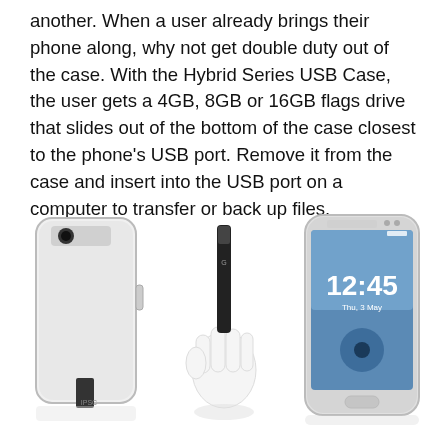another. When a user already brings their phone along, why not get double duty out of the case. With the Hybrid Series USB Case, the user gets a 4GB, 8GB or 16GB flags drive that slides out of the bottom of the case closest to the phone's USB port. Remove it from the case and insert into the USB port on a computer to transfer or back up files.
[Figure (photo): Three product photos side by side: left shows a white Samsung Galaxy S3 phone case with a black USB drive slot at the bottom; center shows a hand holding a small black USB flash drive; right shows a Samsung Galaxy S3 smartphone displaying 12:45 time on screen.]